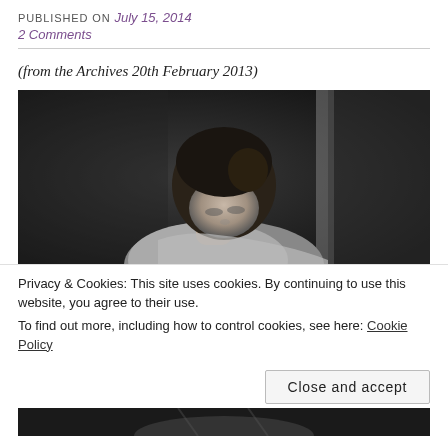PUBLISHED ON July 15, 2014
2 Comments
(from the Archives 20th February 2013)
[Figure (photo): Black and white photograph of a young woman with dark hair up, head bowed, bare shoulders, against a dark concrete wall with a vertical light strip]
Privacy & Cookies: This site uses cookies. By continuing to use this website, you agree to their use.
To find out more, including how to control cookies, see here: Cookie Policy
Close and accept
[Figure (photo): Partial view of a second black and white photograph at bottom of page]